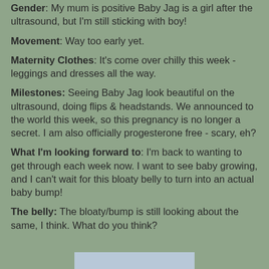Gender: My mum is positive Baby Jag is a girl after the ultrasound, but I'm still sticking with boy!
Movement: Way too early yet.
Maternity Clothes: It's come over chilly this week - leggings and dresses all the way.
Milestones: Seeing Baby Jag look beautiful on the ultrasound, doing flips & headstands. We announced to the world this week, so this pregnancy is no longer a secret. I am also officially progesterone free - scary, eh?
What I'm looking forward to: I'm back to wanting to get through each week now. I want to see baby growing, and I can't wait for this bloaty belly to turn into an actual baby bump!
The belly: The bloaty/bump is still looking about the same, I think. What do you think?
[Figure (photo): Partial image strip visible at the bottom of the page]